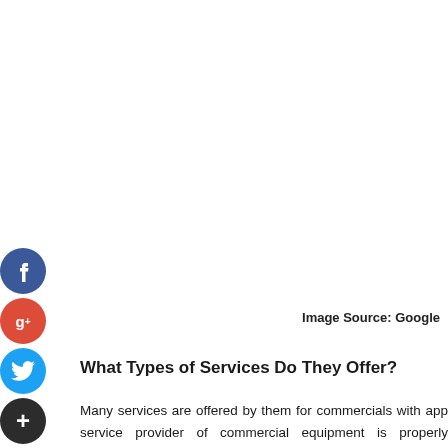[Figure (illustration): Social media share buttons sidebar: Facebook (blue circle with f), Google+ (red circle with g+), Twitter (blue circle with bird icon), More/Plus (dark circle with +)]
Image Source: Google
What Types of Services Do They Offer?
Many services are offered by them for commercials with app service provider of commercial equipment is properly licensed a